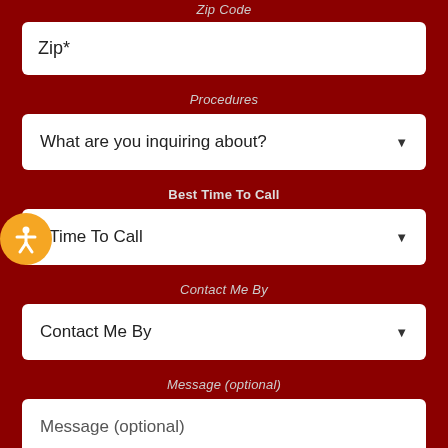Zip Code
Zip*
Procedures
What are you inquiring about?
Best Time To Call
t Time To Call
Contact Me By
Contact Me By
Message (optional)
Message (optional)